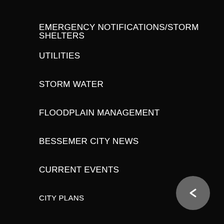EMERGENCY NOTIFICATIONS/STORM SHELTERS
UTILITIES
STORM WATER
FLOODPLAIN MANAGEMENT
BESSEMER CITY NEWS
CURRENT EVENTS
CITY PLANS
CITY INTERACTIVE MAPS
Business
CHAMBER OF COMMERCE
INDUSTRIAL DEVELOPMENT BOARD
BID OPPORTUNITIES
ECONOMIC DEVELOPMENT
BESSEMER AIRPORT